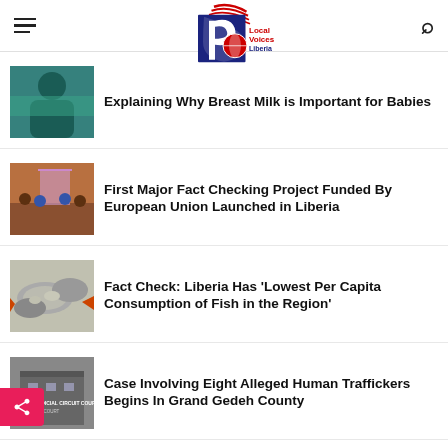Local Voices Liberia
Explaining Why Breast Milk is Important for Babies
First Major Fact Checking Project Funded By European Union Launched in Liberia
Fact Check: Liberia Has 'Lowest Per Capita Consumption of Fish in the Region'
Case Involving Eight Alleged Human Traffickers Begins In Grand Gedeh County
Fact Check: Online Article about Blood